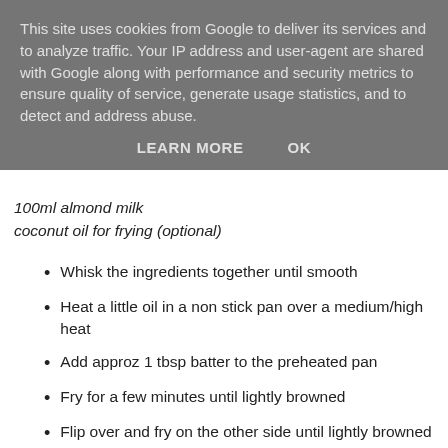This site uses cookies from Google to deliver its services and to analyze traffic. Your IP address and user-agent are shared with Google along with performance and security metrics to ensure quality of service, generate usage statistics, and to detect and address abuse.
LEARN MORE    OK
100ml almond milk
coconut oil for frying (optional)
Whisk the ingredients together until smooth
Heat a little oil in a non stick pan over a medium/high heat
Add approz 1 tbsp batter to the preheated pan
Fry for a few minutes until lightly browned
Flip over and fry on the other side until lightly browned
Repeat until all the batter has been used